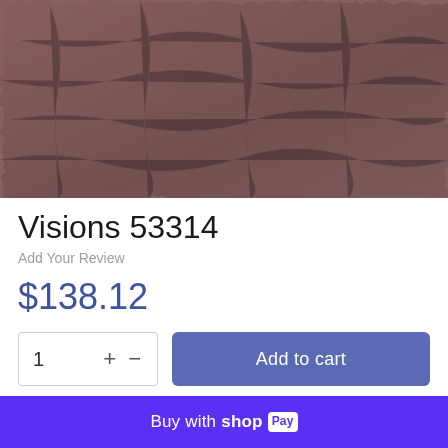[Figure (photo): Close-up texture photo of brown/mauve leather or suede fabric material with subtle surface grain pattern]
Visions 53314
Add Your Review
$138.12
1   +   −    Add to cart
Buy with shop Pay